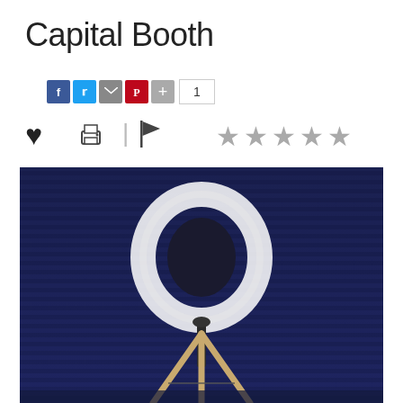Capital Booth
[Figure (screenshot): Social sharing buttons: Facebook (blue), Twitter (blue), Email (gray), Pinterest (red), Plus (red-orange), count box showing 1]
[Figure (screenshot): Action icons: heart (favorite), printer (print), flag (report/flag) with separator bar; and 5 empty/gray star rating icons on the right]
[Figure (photo): Photo of a camera ring light on a tripod stand against a dark navy blue horizontally ribbed backdrop background]